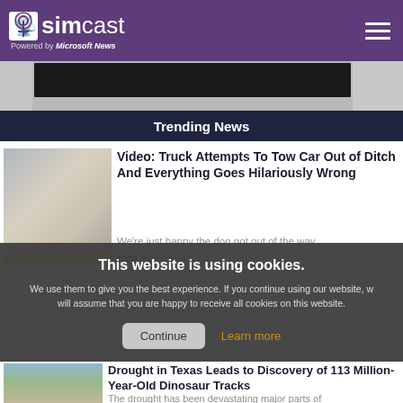simcast – Powered by Microsoft News
[Figure (screenshot): Partial hero image strip, mostly dark/black bar]
Trending News
[Figure (photo): Thumbnail photo of a tow hitch / car being towed]
Video: Truck Attempts To Tow Car Out of Ditch And Everything Goes Hilariously Wrong
We're just happy the dog got out of the way.
BuzzFeed
This website is using cookies. We use them to give you the best experience. If you continue using our website, we will assume that you are happy to receive all cookies on this website.
[Figure (photo): Thumbnail photo of a dry rocky riverbed in Texas]
Drought in Texas Leads to Discovery of 113 Million-Year-Old Dinosaur Tracks
The drought has been devastating major parts of